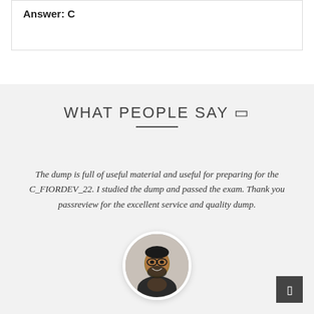Answer: C
WHAT PEOPLE SAY 🗨
The dump is full of useful material and useful for preparing for the C_FIORDEV_22. I studied the dump and passed the exam. Thank you passreview for the excellent service and quality dump.
[Figure (photo): Circular avatar photo of a smiling man with beard and glasses wearing a dark jacket]